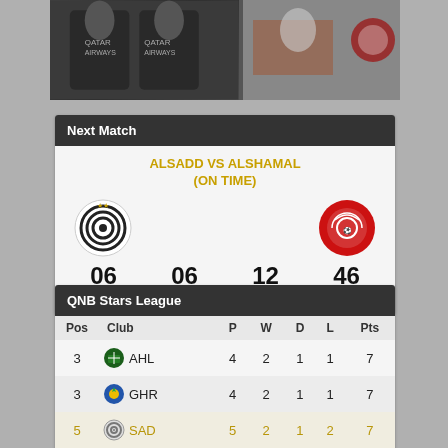[Figure (photo): Two side-by-side photos: left shows players in dark Qatar Airways jerseys, right shows a person at a desk with an Al Shamal Sports Club logo]
Next Match
ALSADD VS ALSHAMAL
(ON TIME)
06 days  06 hrs  12 mins  46 secs
QNB Stars League
| Pos | Club | P | W | D | L | Pts |
| --- | --- | --- | --- | --- | --- | --- |
| 3 | AHL | 4 | 2 | 1 | 1 | 7 |
| 3 | GHR | 4 | 2 | 1 | 1 | 7 |
| 5 | SAD | 5 | 2 | 1 | 2 | 7 |
| 6 | DUH | 4 | 2 | 1 | 1 | 7 |